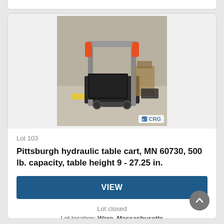[Figure (photo): A Pittsburgh hydraulic table cart photographed in a warehouse/industrial setting. The cart has a metal frame with a flat platform base and a tall handle with orange grips. A CRG watermark logo appears in the bottom-right corner of the photo.]
Lot 103
Pittsburgh hydraulic table cart, MN 60730, 500 lb. capacity, table height 9 - 27.25 in.
VIEW
Lot closed
Lot location: Ware, Massachusetts